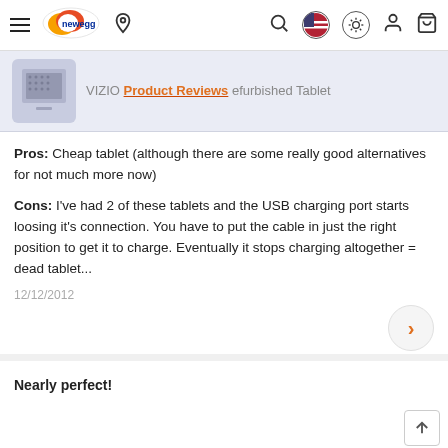Newegg navigation bar with menu, logo, location, search, US flag, brightness, user, and cart icons
[Figure (screenshot): Product banner showing VIZIO tablet image placeholder with text 'VIZIO Product Reviews efurbished Tablet']
Pros: Cheap tablet (although there are some really good alternatives for not much more now)
Cons: I've had 2 of these tablets and the USB charging port starts loosing it's connection. You have to put the cable in just the right position to get it to charge. Eventually it stops charging altogether = dead tablet...
12/12/2012
Nearly perfect!